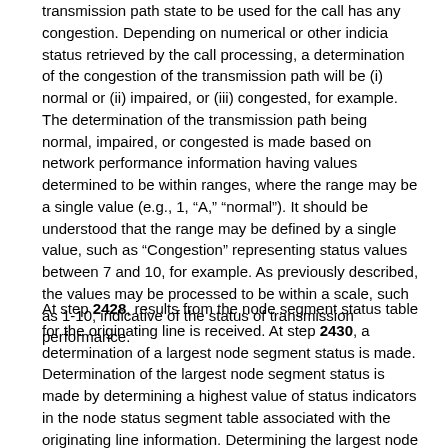transmission path state to be used for the call has any congestion. Depending on numerical or other indicia status retrieved by the call processing, a determination of the congestion of the transmission path will be (i) normal or (ii) impaired, or (iii) congested, for example. The determination of the transmission path being normal, impaired, or congested is made based on network performance information having values determined to be within ranges, where the range may be a single value (e.g., 1, "A," "normal"). It should be understood that the range may be defined by a single value, such as "Congestion" representing status values between 7 and 10, for example. As previously described, the values may be processed to be within a scale, such as 1-10, indicative of the status of transmission performance.
At step 2428, results from the node segment status table for the originating line is received. At step 2430, a determination of a largest node segment status is made. Determination of the largest node segment status is made by determining a highest value of status indicators in the node status segment table associated with the originating line information. Determining the largest node segment status also from at least identify the transmission path state to be used for the call.